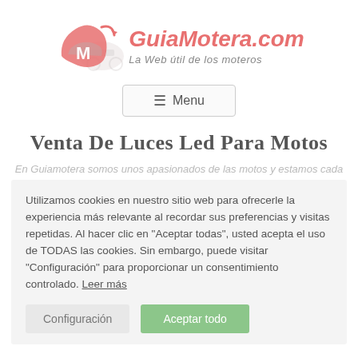[Figure (logo): GuiaMotera.com logo with pink/red motorcycle helmet icon and site name in red italic text, tagline 'La Web útil de los moteros' below]
≡  Menu
Venta De Luces Led Para Motos
En Guiamotera somos unos apasionados de las motos y estamos cada
Utilizamos cookies en nuestro sitio web para ofrecerle la experiencia más relevante al recordar sus preferencias y visitas repetidas. Al hacer clic en "Aceptar todas", usted acepta el uso de TODAS las cookies. Sin embargo, puede visitar "Configuración" para proporcionar un consentimiento controlado. Leer más
Configuración | Aceptar todo